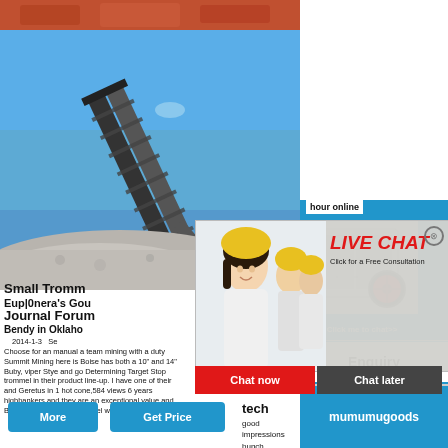[Figure (photo): Orange mining machinery equipment at top]
[Figure (photo): Conveyor belt with aggregate/gravel and blue sky background]
Small Tromm
Equipment's Gol
Journal Foru
Bendy in Oklaho
2014-1-3 Se
Choose for an manual a team mining with a duty
Summit Mining here is Boise has both a 10" and 14"
Buby, viper Stye and go Determining Target Stop
trommel in their product line-up. I have one of their
and Geretus in 1 hot cone,584 views 6 years
highbankers and they are an exceptional value and
Buy Best Gold barrel trommel wash plant First
tech
good
impressions
bunch
gold of
The Pm Gold
[Figure (screenshot): Live chat popup with workers in hard hats, LIVE CHAT title in red italic, Click for a Free Consultation text, Chat now and Chat later buttons]
hour online
[Figure (photo): Industrial crusher/jaw crusher machine image on blue background]
Click me to chat>>
Enquiry
mumumugoods
More
Get Price